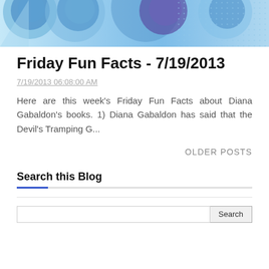[Figure (illustration): Blog header banner with blue and purple overlapping circles/bubbles on a light blue background with dot pattern on right side and triangle on left]
Friday Fun Facts - 7/19/2013
7/19/2013 06:08:00 AM
Here are this week's Friday Fun Facts about Diana Gabaldon's books. 1) Diana Gabaldon has said that the Devil's Tramping G...
OLDER POSTS
Search this Blog
Search